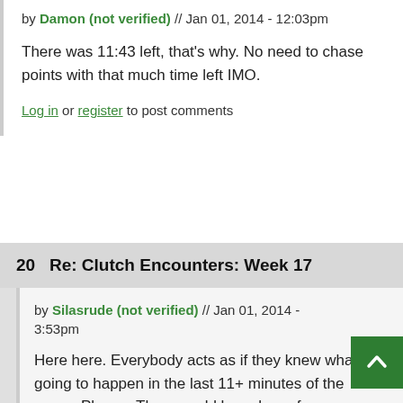by Damon (not verified) // Jan 01, 2014 - 12:03pm
There was 11:43 left, that's why. No need to chase points with that much time left IMO.
Log in or register to post comments
20   Re: Clutch Encounters: Week 17
by Silasrude (not verified) // Jan 01, 2014 - 3:53pm
Here here. Everybody acts as if they knew what was going to happen in the last 11+ minutes of the game. Please. There could have been four